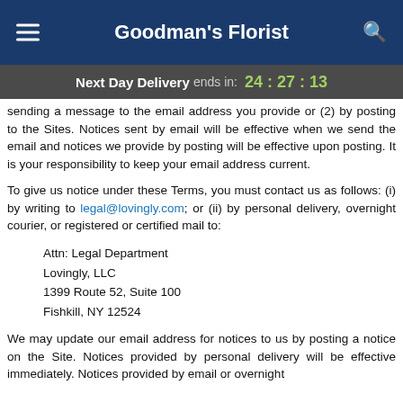Goodman's Florist
Next Day Delivery ends in: 24:27:13
sending a message to the email address you provide or (2) by posting to the Sites. Notices sent by email will be effective when we send the email and notices we provide by posting will be effective upon posting. It is your responsibility to keep your email address current.
To give us notice under these Terms, you must contact us as follows: (i) by writing to legal@lovingly.com; or (ii) by personal delivery, overnight courier, or registered or certified mail to:
Attn: Legal Department
Lovingly, LLC
1399 Route 52, Suite 100
Fishkill, NY 12524
We may update our email address for notices to us by posting a notice on the Site. Notices provided by personal delivery will be effective immediately. Notices provided by email or overnight courier will be effective upon receipt of the notice.